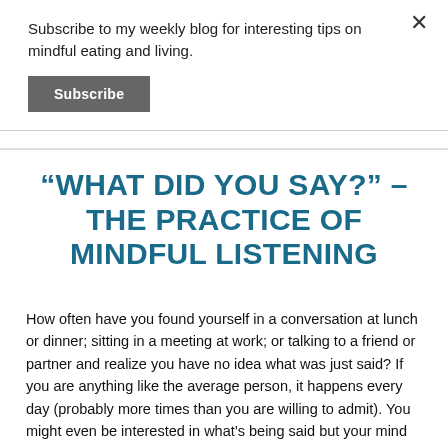Subscribe to my weekly blog for interesting tips on mindful eating and living.
Subscribe
“WHAT DID YOU SAY?” – THE PRACTICE OF MINDFUL LISTENING
How often have you found yourself in a conversation at lunch or dinner; sitting in a meeting at work; or talking to a friend or partner and realize you have no idea what was just said?  If you are anything like the average person, it happens every day (probably more times than you are willing to admit).  You might even be interested in what’s being said but your mind has carried you off on one of its wanderings–into the past or future, to something that’s bothering you, or to your to-do list.